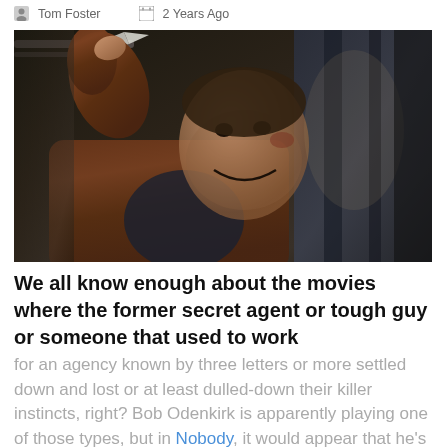Tom Foster   2 Years Ago
[Figure (photo): Man in brown leather jacket raising his arm holding a knife, grimacing with a battered face, in a dark outdoor setting. Appears to be a movie still from 'Nobody' featuring Bob Odenkirk.]
We all know enough about the movies where the former secret agent or tough guy or someone that used to work for an agency known by three letters or more settled down and lost or at least dulled-down their killer instincts, right? Bob Odenkirk is apparently playing one of those types, but in Nobody, it would appear that he's not going to be the